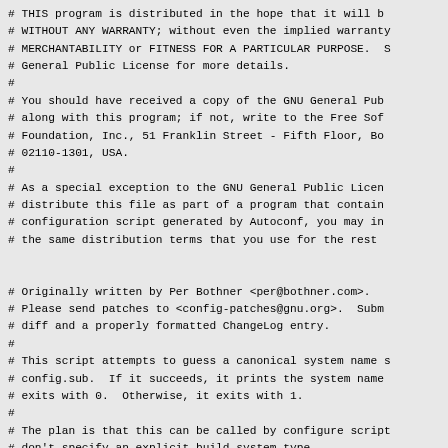# THIS program is distributed in the hope that it will b
# WITHOUT ANY WARRANTY; without even the implied warranty
# MERCHANTABILITY or FITNESS FOR A PARTICULAR PURPOSE.  S
# General Public License for more details.
#
# You should have received a copy of the GNU General Pub
# along with this program; if not, write to the Free Sof
# Foundation, Inc., 51 Franklin Street - Fifth Floor, Bo
# 02110-1301, USA.
#
# As a special exception to the GNU General Public Licen
# distribute this file as part of a program that contain
# configuration script generated by Autoconf, you may in
# the same distribution terms that you use for the rest 


# Originally written by Per Bothner <per@bothner.com>.
# Please send patches to <config-patches@gnu.org>.  Subm
# diff and a properly formatted ChangeLog entry.
#
# This script attempts to guess a canonical system name 
# config.sub.  If it succeeds, it prints the system name
# exits with 0.  Otherwise, it exits with 1.
#
# The plan is that this can be called by configure scrip
# don't specify an explicit build system type.

me=`echo "$0" | sed -e 's,.*/,,'`

usage="\
Usage: $0 [OPTION]